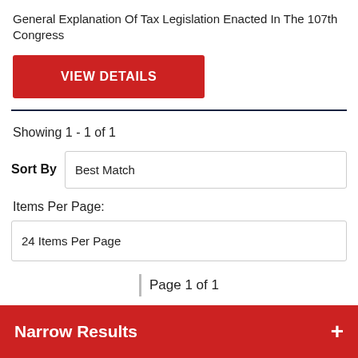General Explanation Of Tax Legislation Enacted In The 107th Congress
VIEW DETAILS
Showing 1 - 1 of 1
Sort By  Best Match
Items Per Page:
24 Items Per Page
Page 1 of 1
Narrow Results